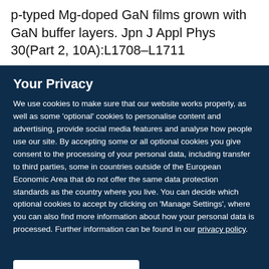p-typed Mg-doped GaN films grown with GaN buffer layers. Jpn J Appl Phys 30(Part 2, 10A):L1708–L1711
Your Privacy
We use cookies to make sure that our website works properly, as well as some 'optional' cookies to personalise content and advertising, provide social media features and analyse how people use our site. By accepting some or all optional cookies you give consent to the processing of your personal data, including transfer to third parties, some in countries outside of the European Economic Area that do not offer the same data protection standards as the country where you live. You can decide which optional cookies to accept by clicking on 'Manage Settings', where you can also find more information about how your personal data is processed. Further information can be found in our privacy policy.
Accept all cookies
Manage preferences